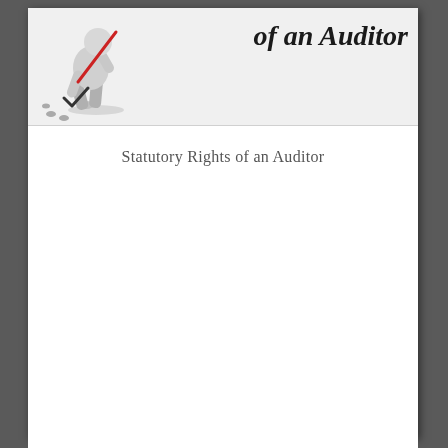[Figure (illustration): Banner image with a 3D figure writing/signing a document on the left side, and stylized italic bold text reading 'of an Auditor' on the right side, on a light gray background.]
Statutory Rights of an Auditor